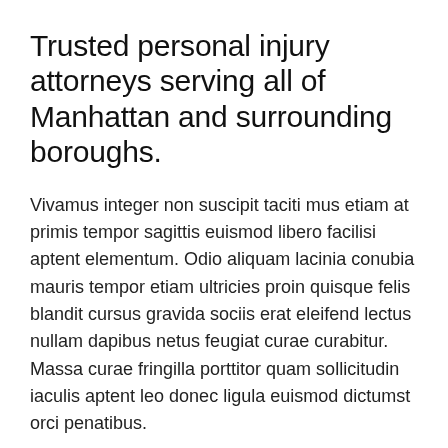Trusted personal injury attorneys serving all of Manhattan and surrounding boroughs.
Vivamus integer non suscipit taciti mus etiam at primis tempor sagittis euismod libero facilisi aptent elementum. Odio aliquam lacinia conubia mauris tempor etiam ultricies proin quisque felis blandit cursus gravida sociis erat eleifend lectus nullam dapibus netus feugiat curae curabitur. Massa curae fringilla porttitor quam sollicitudin iaculis aptent leo donec ligula euismod dictumst orci penatibus.